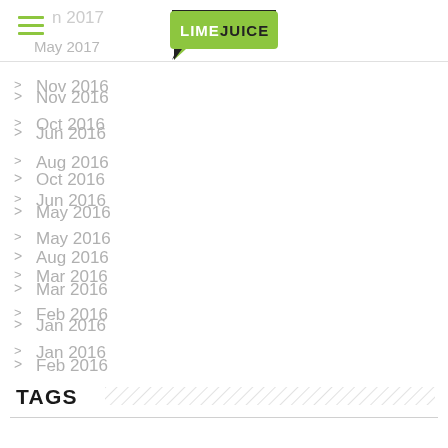n 2017 | May 2017
[Figure (logo): LimeJuice logo - green speech bubble shape with 'LIME' in white and 'JUICE' in dark/black text, with a black arrow pointing down-left]
Nov 2016
Oct 2016
Aug 2016
Jun 2016
May 2016
Mar 2016
Feb 2016
Jan 2016
TAGS